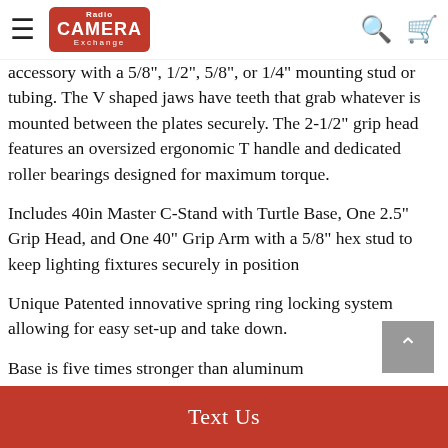Radio Camera Exchange — navigation header with hamburger menu, logo, search and cart icons
accessory with a 5/8", 1/2", 5/8", or 1/4" mounting stud or tubing. The V shaped jaws have teeth that grab whatever is mounted between the plates securely. The 2-1/2" grip head features an oversized ergonomic T handle and dedicated roller bearings designed for maximum torque.
Includes 40in Master C-Stand with Turtle Base, One 2.5" Grip Head, and One 40" Grip Arm with a 5/8" hex stud to keep lighting fixtures securely in position
Unique Patented innovative spring ring locking system allowing for easy set-up and take down.
Base is five times stronger than aluminum
Text Us